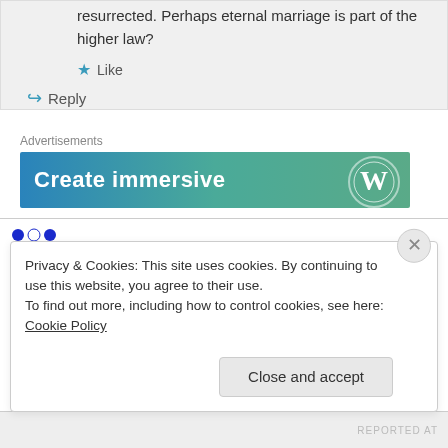resurrected. Perhaps eternal marriage is part of the higher law?
★ Like
↪ Reply
Advertisements
[Figure (screenshot): Ad banner with text 'Create immersive' and WordPress logo on teal/blue gradient background]
Bradley on May 7, 2012 at 8:35 pm
Privacy & Cookies: This site uses cookies. By continuing to use this website, you agree to their use.
To find out more, including how to control cookies, see here: Cookie Policy
Close and accept